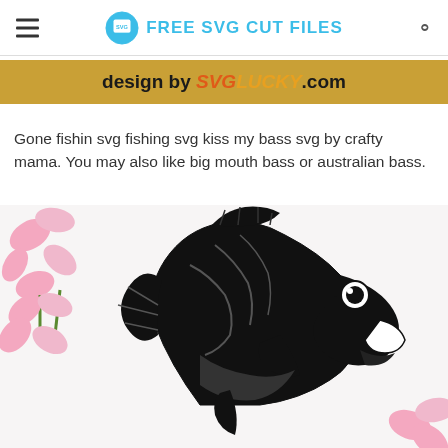FREE SVG CUT FILES
[Figure (illustration): Gold/tan banner graphic with text: design by SVGLUCKY.com]
Gone fishin svg fishing svg kiss my bass svg by crafty mama. You may also like big mouth bass or australian bass.
[Figure (illustration): Photo of a black and white bass fish SVG illustration leaping upward, surrounded by pink carnation flowers on a white background.]